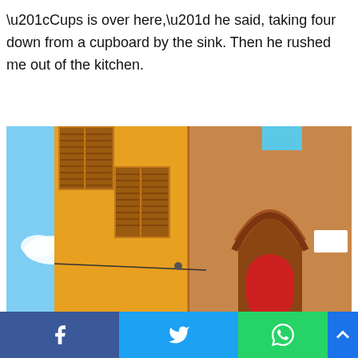“Cups is over here,” he said, taking four down from a cupboard by the sink. Then he rushed me out of the kitchen.
[Figure (photo): Exterior of a yellow building with brown wooden window shutters, a brick arched doorway with a red door, blue sky with clouds in the background. Italian-style architecture.]
Social share bar with Facebook, Twitter, WhatsApp, and scroll-to-top buttons